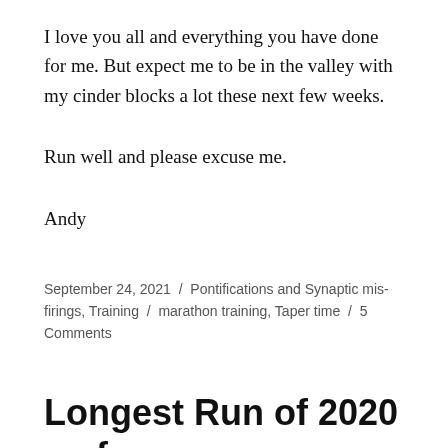I love you all and everything you have done for me. But expect me to be in the valley with my cinder blocks a lot these next few weeks.
Run well and please excuse me.
Andy
September 24, 2021 / Pontifications and Synaptic misfirings, Training / marathon training, Taper time / 5 Comments
Longest Run of 2020 so far
Sometimes a long run doesn't go as